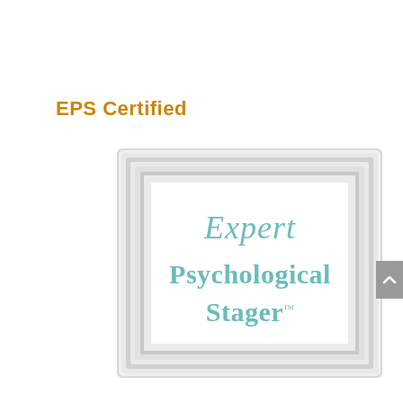EPS Certified
[Figure (logo): Expert Psychological Stager logo inside a white decorative picture frame. The frame is white with molded edges. Inside the frame, the word 'Expert' appears in a teal cursive/script font, below which 'Psychological' appears in large teal serif bold text, and below that 'Stager' appears in teal serif bold text with a trademark symbol (TM).]